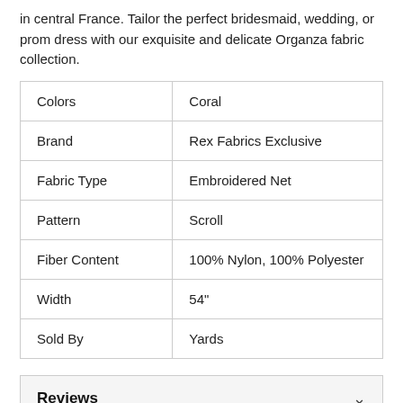in central France. Tailor the perfect bridesmaid, wedding, or prom dress with our exquisite and delicate Organza fabric collection.
| Colors | Coral |
| Brand | Rex Fabrics Exclusive |
| Fabric Type | Embroidered Net |
| Pattern | Scroll |
| Fiber Content | 100% Nylon, 100% Polyester |
| Width | 54" |
| Sold By | Yards |
Reviews
Shipping & Returns